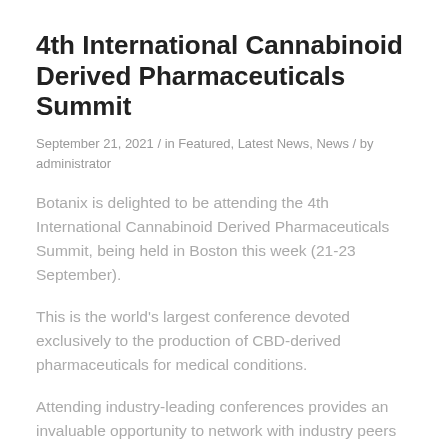4th International Cannabinoid Derived Pharmaceuticals Summit
September 21, 2021 / in Featured, Latest News, News / by administrator
Botanix is delighted to be attending the 4th International Cannabinoid Derived Pharmaceuticals Summit, being held in Boston this week (21-23 September).
This is the world’s largest conference devoted exclusively to the production of CBD-derived pharmaceuticals for medical conditions.
Attending industry-leading conferences provides an invaluable opportunity to network with industry peers and key opinion leaders, and to